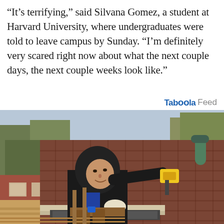“It’s terrifying,” said Silvana Gomez, a student at Harvard University, where undergraduates were told to leave campus by Sunday. “I’m definitely very scared right now about what the next couple days, the next couple weeks look like.”
Taboola Feed
[Figure (photo): A person wearing a black hoodie and work belt using a yellow power tool on the roof gutters of a house. Trees and a brick building are visible in the background. The roof has brown shingles.]